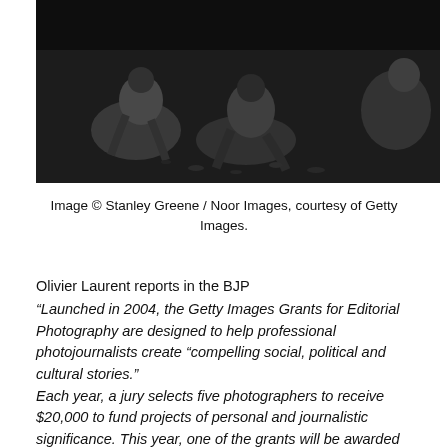[Figure (photo): Black and white photograph of people crouching on the ground outdoors, documentary/photojournalism style image.]
Image © Stanley Greene / Noor Images, courtesy of Getty Images.
Olivier Laurent reports in the BJP
“Launched in 2004, the Getty Images Grants for Editorial Photography are designed to help professional photojournalists create “compelling social, political and cultural stories.”
Each year, a jury selects five photographers to receive $20,000 to fund projects of personal and journalistic significance. This year, one of the grants will be awarded